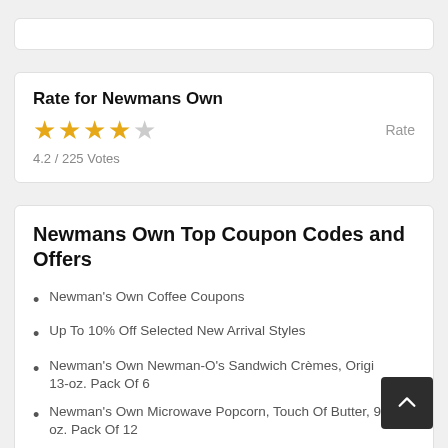Rate for Newmans Own
4.2 / 225 Votes
Newmans Own Top Coupon Codes and Offers
Newman's Own Coffee Coupons
Up To 10% Off Selected New Arrival Styles
Newman's Own Newman-O's Sandwich Crèmes, Origin 13-oz. Pack Of 6
Newman's Own Microwave Popcorn, Touch Of Butter, 9.6-oz. Pack Of 12